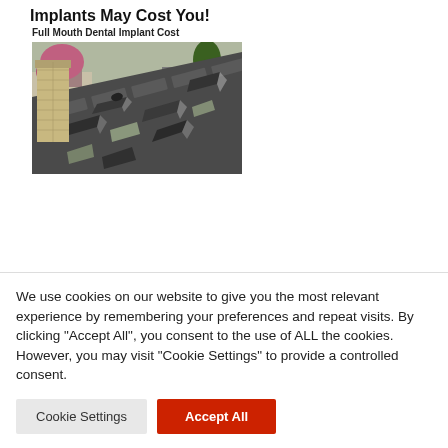Implants May Cost You!
Full Mouth Dental Implant Cost
[Figure (photo): Damaged residential roof with lifted and broken dark shingles, a brick chimney visible on the left, trees and houses in the background]
We use cookies on our website to give you the most relevant experience by remembering your preferences and repeat visits. By clicking “Accept All”, you consent to the use of ALL the cookies. However, you may visit "Cookie Settings" to provide a controlled consent.
Cookie Settings | Accept All